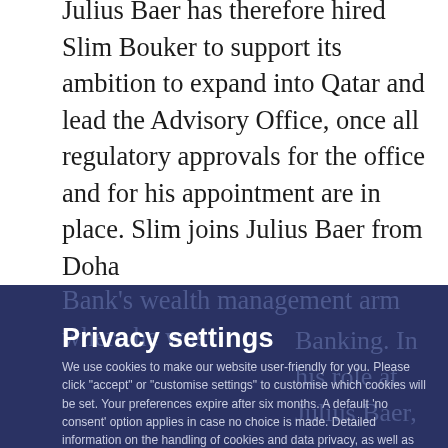Julius Baer has therefore hired Slim Bouker to support its ambition to expand into Qatar and lead the Advisory Office, once all regulatory approvals for the office and for his appointment are in place. Slim joins Julius Baer from Doha Bank's wealth management arm where he was
Privacy settings
We use cookies to make our website user-friendly for you. Please click "accept" or "customise settings" to customise which cookies will be set. Your preferences expire after six months. A default 'no consent' option applies in case no choice is made. Detailed information on the handling of cookies and data privacy, as well as your right to withdraw your consent at any time, can be found in our Data Privacy Policy.
Banking. In his role at Julius Baer,
Executive Officer, Julius Baer (Middle East) Ltd.
Regis Burger, Global Head Middle East & Africa at
own our Middle East business by leaps and bounds in the past decades and thus move with support our next phase of growth and development in the region.